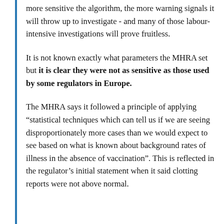more sensitive the algorithm, the more warning signals it will throw up to investigate - and many of those labour-intensive investigations will prove fruitless.
It is not known exactly what parameters the MHRA set but it is clear they were not as sensitive as those used by some regulators in Europe.
The MHRA says it followed a principle of applying “statistical techniques which can tell us if we are seeing disproportionately more cases than we would expect to see based on what is known about background rates of illness in the absence of vaccination”. This is reflected in the regulator’s initial statement when it said clotting reports were not above normal.